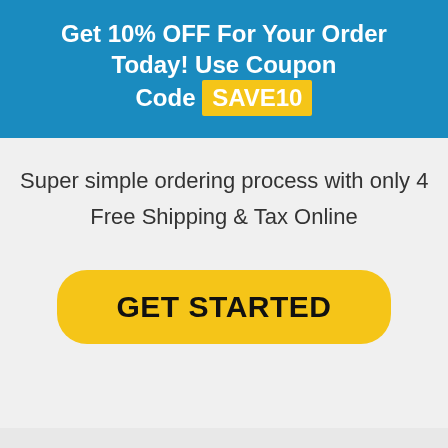Get 10% OFF For Your Order Today! Use Coupon Code SAVE10
Super simple ordering process with only 4
Free Shipping & Tax Online
GET STARTED
Get You